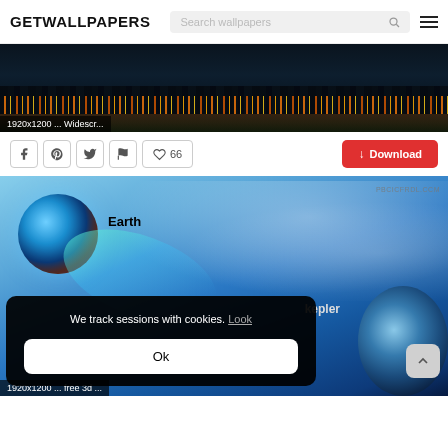GETWALLPAPERS — Search wallpapers
[Figure (photo): City skyline at night reflected on water, dark atmospheric scene]
1920x1200 ... Widescr...
Social share buttons (Facebook, Pinterest, Twitter, Flag) and like count: 66
Download button
[Figure (photo): Space wallpaper showing Earth planet with comet tail and Kepler planet against blue sky/space background]
Earth
kepler
1920x1200 ... free 3d ...
We track sessions with cookies. Look
Ok